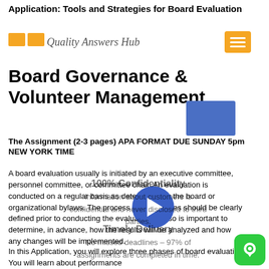Application: Tools and Strategies for Board Evaluation
Board Governance & Volunteer Management
The Assignment (2-3 pages) APA FORMAT DUE SUNDAY 5pm NEW YORK TIME
A board evaluation usually is initiated by an executive committee, personnel committee, or committee chair. An evaluation is conducted on a regular basis as determined by the board or organizational bylaws. The process and outcomes should be clearly defined prior to conducting the evaluation. It also is important to determine, in advance, how the results will be analyzed and how any changes will be implemented.
In this Application, you will explore three phases of board evaluation. You will learn about performance